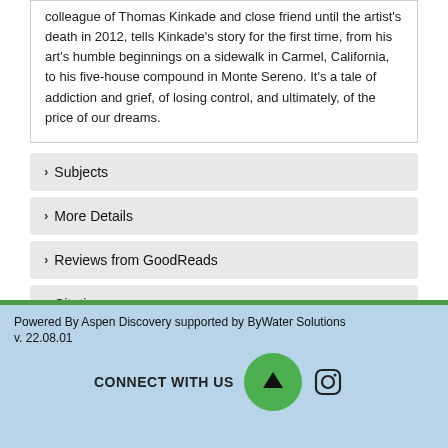colleague of Thomas Kinkade and close friend until the artist's death in 2012, tells Kinkade's story for the first time, from his art's humble beginnings on a sidewalk in Carmel, California, to his five-house compound in Monte Sereno. It's a tale of addiction and grief, of losing control, and ultimately, of the price of our dreams.
Subjects
More Details
Reviews from GoodReads
Citations
Staff View
Powered By Aspen Discovery supported by ByWater Solutions
v. 22.08.01
CONNECT WITH US